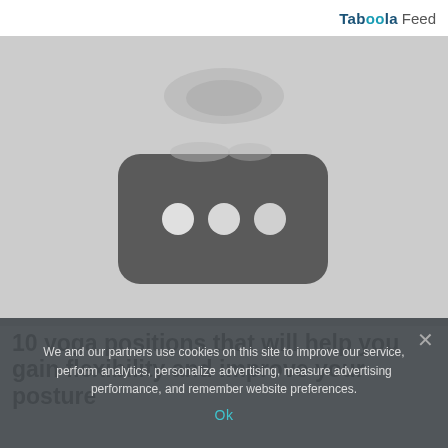Taboola Feed
[Figure (screenshot): Blurred grey thumbnail image with a dark rounded rectangle play button icon containing three white dots in the center, on a light grey background]
10 yoga positions that will help you gain flexibility and improve your posture
We and our partners use cookies on this site to improve our service, perform analytics, personalize advertising, measure advertising performance, and remember website preferences.
Ok